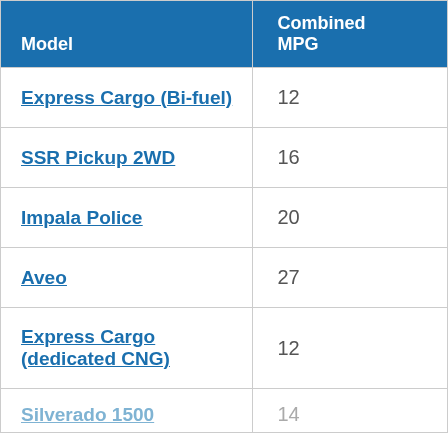| Model | Combined MPG |
| --- | --- |
| Express Cargo (Bi-fuel) | 12 |
| SSR Pickup 2WD | 16 |
| Impala Police | 20 |
| Aveo | 27 |
| Express Cargo (dedicated CNG) | 12 |
| Silverado 1500 | 14 |